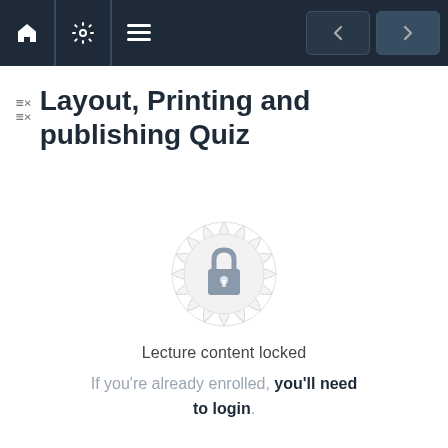[Figure (screenshot): Navigation bar with home, settings, menu icons on the left and back/forward buttons on the right, dark navy background]
Layout, Printing and publishing Quiz
[Figure (illustration): Decorative mandala/rosette shape with a padlock icon in the center, light gray color, indicating locked content]
Lecture content locked
If you're already enrolled, you'll need to login.